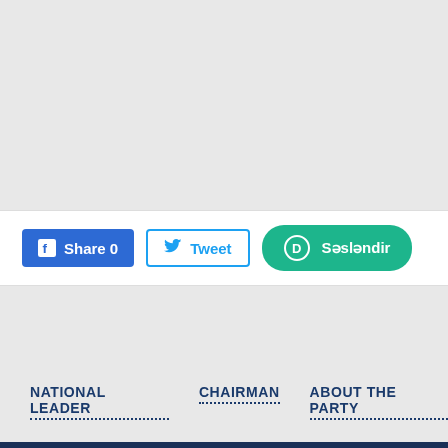[Figure (other): Gray background top section (image/content area placeholder)]
Share 0   Tweet   Səsləndir
NATIONAL LEADER   CHAIRMAN   ABOUT THE PARTY
© 2014 The New Azerbaijan Party    AZ1025, Azerbaijan Rep   Telephone: (+99412) 490   Fax: (+99412) 490 80 41